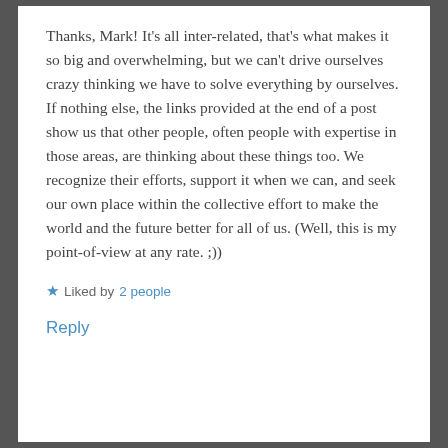Thanks, Mark! It's all inter-related, that's what makes it so big and overwhelming, but we can't drive ourselves crazy thinking we have to solve everything by ourselves. If nothing else, the links provided at the end of a post show us that other people, often people with expertise in those areas, are thinking about these things too. We recognize their efforts, support it when we can, and seek our own place within the collective effort to make the world and the future better for all of us. (Well, this is my point-of-view at any rate. ;))
★ Liked by 2 people
Reply